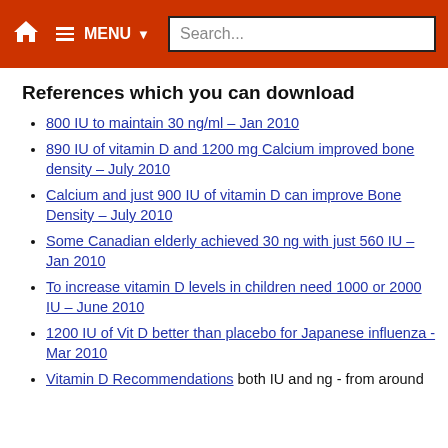MENU Search...
References which you can download
800 IU to maintain 30 ng/ml – Jan 2010
890 IU of vitamin D and 1200 mg Calcium improved bone density – July 2010
Calcium and just 900 IU of vitamin D can improve Bone Density – July 2010
Some Canadian elderly achieved 30 ng with just 560 IU – Jan 2010
To increase vitamin D levels in children need 1000 or 2000 IU – June 2010
1200 IU of Vit D better than placebo for Japanese influenza - Mar 2010
Vitamin D Recommendations both IU and ng - from around